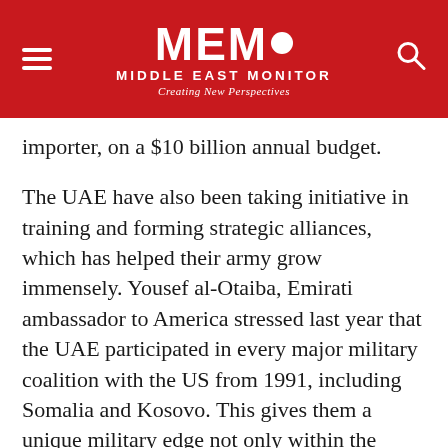MEMO MIDDLE EAST MONITOR — Creating New Perspectives
importer, on a $10 billion annual budget.
The UAE have also been taking initiative in training and forming strategic alliances, which has helped their army grow immensely. Yousef al-Otaiba, Emirati ambassador to America stressed last year that the UAE participated in every major military coalition with the US from 1991, including Somalia and Kosovo. This gives them a unique military edge not only within the GCC, but amongst fellow Arab armies.
The UAE was also the only Arab country to send its forces into Afghanistan with NATO in